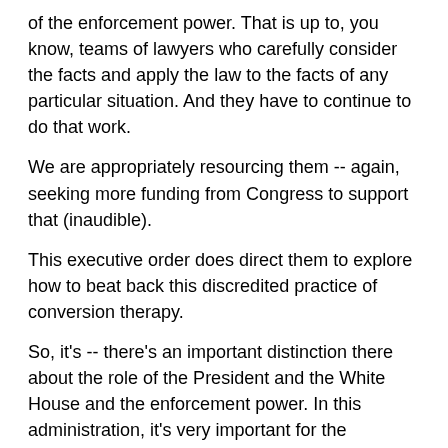of the enforcement power. That is up to, you know, teams of lawyers who carefully consider the facts and apply the law to the facts of any particular situation. And they have to continue to do that work.
We are appropriately resourcing them -- again, seeking more funding from Congress to support that (inaudible).
This executive order does direct them to explore how to beat back this discredited practice of conversion therapy.
So, it's -- there's an important distinction there about the role of the President and the White House and the enforcement power. In this administration, it's very important for the enforcement power to be exercised independently by the agencies.
MR. MUNOZ: And, Orion, your second question?
Q: Thanks. Can you all hear me?
MR. MUNOZ: Yep.
Q: Thank you. So, for charging HHS to work with states to